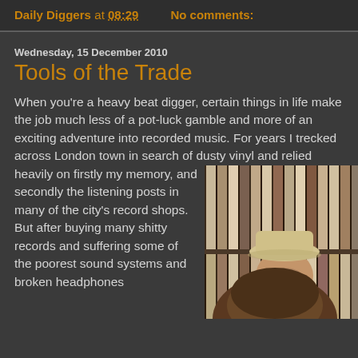Daily Diggers at 08:29   No comments:
Wednesday, 15 December 2010
Tools of the Trade
When you're a heavy beat digger, certain things in life make the job much less of a pot-luck gamble and more of an exciting adventure into recorded music. For years I trecked across London town in search of dusty vinyl and relied heavily on firstly my memory, and secondly the listening posts in many of the city's record shops. But after buying many shitty records and suffering some of the poorest sound systems and broken headphones
[Figure (photo): Person wearing a beige bucket hat and brown hoodie, browsing vinyl records on shelves in a record shop]